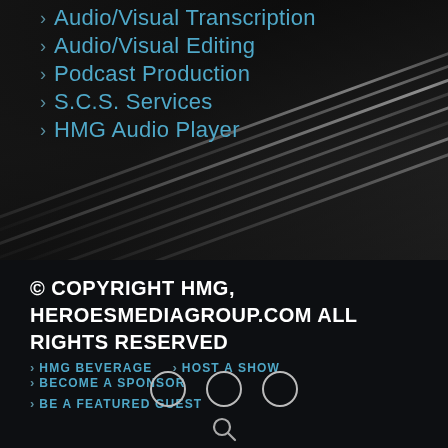Audio/Visual Transcription
Audio/Visual Editing
Podcast Production
S.C.S. Services
HMG Audio Player
[Figure (photo): Dark background with diagonal metallic/silver lines or rods at an angle]
© COPYRIGHT HMG, HEROESMEDIAGROUP.COM ALL RIGHTS RESERVED
HMG BEVERAGE
HOST A SHOW
BECOME A SPONSOR
BE A FEATURED GUEST
[Figure (infographic): Three social media icon circles (partially visible at bottom) and a search/magnifying glass icon below]